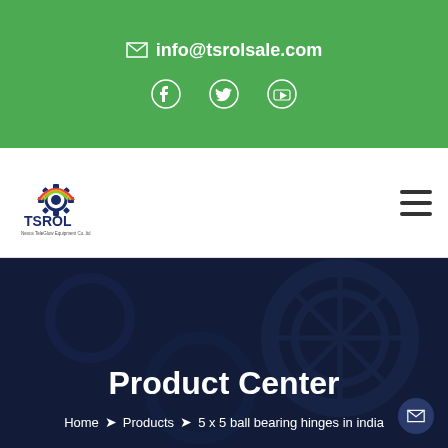info@tsrolsale.com
[Figure (logo): TSROL company logo with gear icon]
Product Center
Home > Products > 5 x 5 ball bearing hinges in india